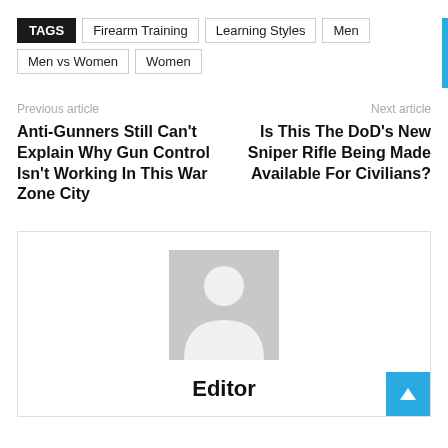TAGS  Firearm Training  Learning Styles  Men  Men vs Women  Women
Previous article
Anti-Gunners Still Can't Explain Why Gun Control Isn't Working In This War Zone City
Next article
Is This The DoD's New Sniper Rifle Being Made Available For Civilians?
[Figure (illustration): Generic author avatar placeholder (gray silhouette of a person)]
Editor